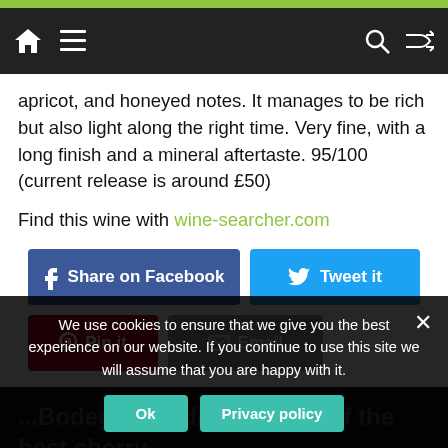Navigation bar with home, menu, search, and shuffle icons
apricot, and honeyed notes. It manages to be rich but also light along the right time. Very fine, with a long finish and a mineral aftertaste. 95/100 (current release is around £50)
Find this wine with wine-searcher.com
[Figure (other): Social sharing buttons: Share on Facebook (blue), Tweet it (light blue), Pin it (red), Email (gray)]
We use cookies to ensure that we give you the best experience on our website. If you continue to use this site we will assume that you are happy with it.
...Bodegas Tradicion... one of the best sherry...